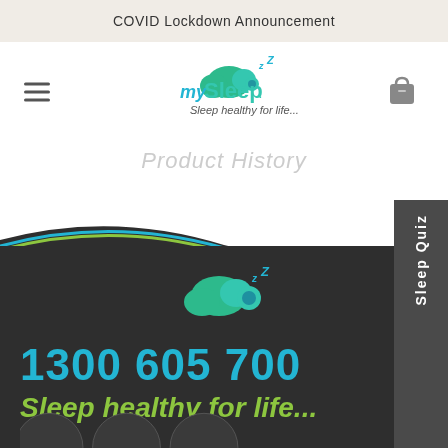COVID Lockdown Announcement
[Figure (logo): mySleep logo with cloud icon and tagline 'Sleep healthy for life...']
Product History
[Figure (infographic): mySleep website footer section with dark background, cloud logo, phone number 1300 605 700, tagline 'Sleep healthy for life...' and Sleep Quiz sidebar tab]
1300 605 700
Sleep healthy for life...